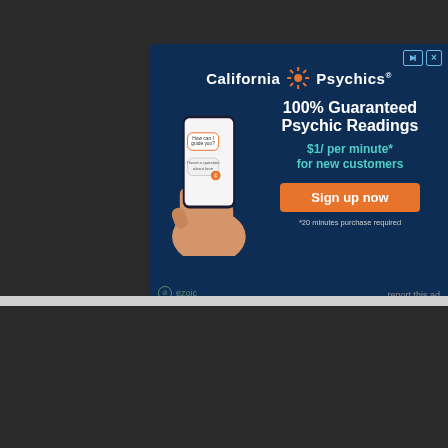[Figure (infographic): California Psychics advertisement banner with dark blue background, phone graphic, headline '100% Guaranteed Psychic Readings', '$1/ per minute* for new customers', orange 'Sign up now' button, and '*20 minutes purchase required' disclaimer]
[Figure (infographic): Vrbo advertisement with white background, Vrbo italic logo, mountain vacation home photo, text 'Vacation homes for whoever you call family', and 'find yours' button]